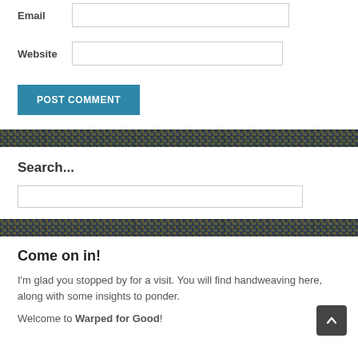Email [input field]
Website [input field]
POST COMMENT
[Figure (photo): Woven textile texture band in blue and gold colors]
Search...
[Search input field]
[Figure (photo): Woven textile texture band in blue and gold colors]
Come on in!
I'm glad you stopped by for a visit. You will find handweaving here, along with some insights to ponder.
Welcome to Warped for Good!